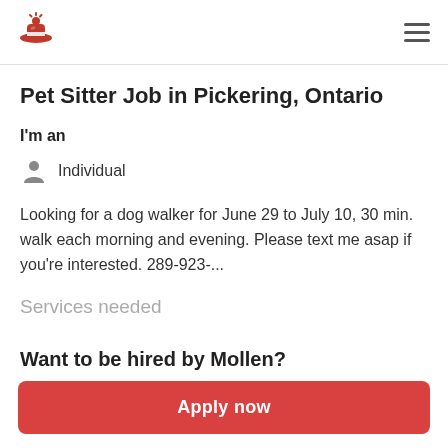Pet Sitter Job in Pickering, Ontario
Pet Sitter Job in Pickering, Ontario
I'm an
Individual
Looking for a dog walker for June 29 to July 10, 30 min. walk each morning and evening. Please text me asap if you're interested. 289-923-...
Services needed
Want to be hired by Mollen?
Apply now